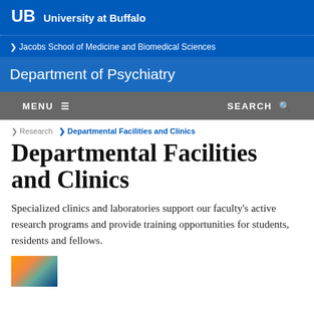UB University at Buffalo
Jacobs School of Medicine and Biomedical Sciences
Department of Psychiatry
MENU  SEARCH
Research  Departmental Facilities and Clinics
Departmental Facilities and Clinics
Specialized clinics and laboratories support our faculty's active research programs and provide training opportunities for students, residents and fellows.